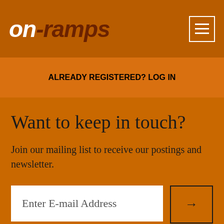on-ramps
ALREADY REGISTERED? LOG IN
Want to keep in touch?
Join our mailing list to receive our postings and newsletter.
Enter E-mail Address